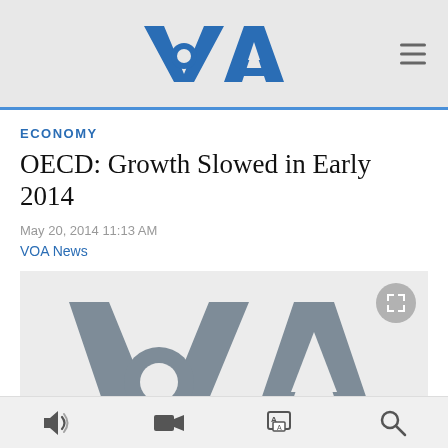[Figure (logo): VOA (Voice of America) logo in blue with hamburger menu icon on right]
ECONOMY
OECD: Growth Slowed in Early 2014
May 20, 2014 11:13 AM
VOA News
[Figure (logo): Large VOA logo watermark in gray on light gray background, with fullscreen button icon in top right corner]
Audio | Video | Text | Search icons